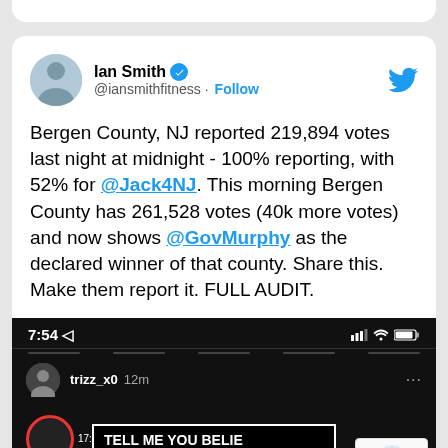[Figure (screenshot): Screenshot of a tweet by @iansmithfitness (Ian Smith) with verified badge. Tweet reads: 'Bergen County, NJ reported 219,894 votes last night at midnight - 100% reporting, with 52% for @Jack4NJ. This morning Bergen County has 261,528 votes (40k more votes) and now shows @GovMurphy as the declared winner of that county. Share this. Make them report it. FULL AUDIT.' Below the tweet text is a screenshot of a phone showing a social media post from trizz_x0 with text 'TELL ME YOU BELIEVE IN VOTER FRAUD WH...' A reCAPTCHA widget appears in the lower right corner with 'Privacy · Terms' text.]